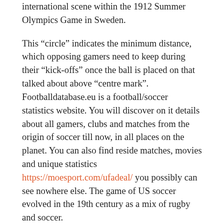international scene within the 1912 Summer Olympics Game in Sweden.
This “circle” indicates the minimum distance, which opposing gamers need to keep during their “kick-offs” once the ball is placed on that talked about above “centre mark”. Footballdatabase.eu is a football/soccer statistics website. You will discover on it details about all gamers, clubs and matches from the origin of soccer till now, in all places on the planet. You can also find reside matches, movies and unique statistics https://moesport.com/ufadeal/ you possibly can see nowhere else. The game of US soccer evolved in the 19th century as a mix of rugby and soccer.
The web site collates its tales from varied sources around the globe, bringing them into one central place and due to this fact making it easy for followers to maintain up to date with the ever-changing world of soccer. Whether